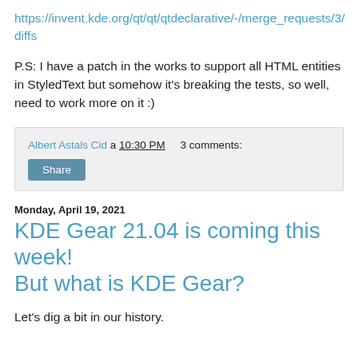https://invent.kde.org/qt/qt/qtdeclarative/-/merge_requests/3/diffs
P.S: I have a patch in the works to support all HTML entities in StyledText but somehow it's breaking the tests, so well, need to work more on it :)
Albert Astals Cid a 10:30 PM    3 comments:
Share
Monday, April 19, 2021
KDE Gear 21.04 is coming this week! But what is KDE Gear?
Let's dig a bit in our history.